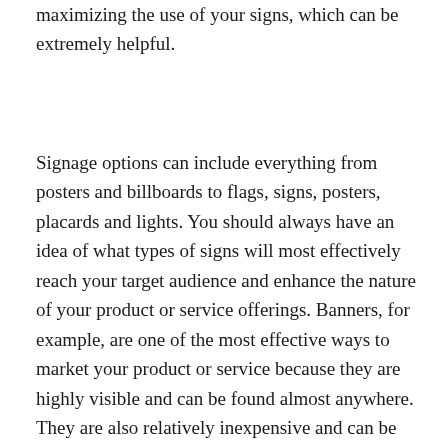maximizing the use of your signs, which can be extremely helpful.
Signage options can include everything from posters and billboards to flags, signs, posters, placards and lights. You should always have an idea of what types of signs will most effectively reach your target audience and enhance the nature of your product or service offerings. Banners, for example, are one of the most effective ways to market your product or service because they are highly visible and can be found almost anywhere. They are also relatively inexpensive and can be customized easily with your logo and message. Another popular option is to use large outdoor banners that can be placed anywhere in your parking lot or along your